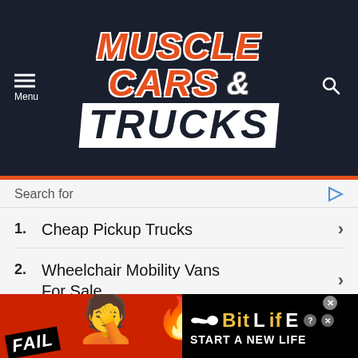[Figure (logo): Muscle Cars & Trucks website logo on dark navy background with orange and white text, hamburger menu icon on left, search icon on right]
Search for
1. Cheap Pickup Trucks
2. Wheelchair Mobility Vans For Sale
3. Used Ford Pickup Trucks For Sale
Yahoo! Search | Sponsored
[Figure (infographic): BitLife advertisement banner with FAIL badge, facepalm emoji, fire emoji, and START A NEW LIFE text on black/red background]